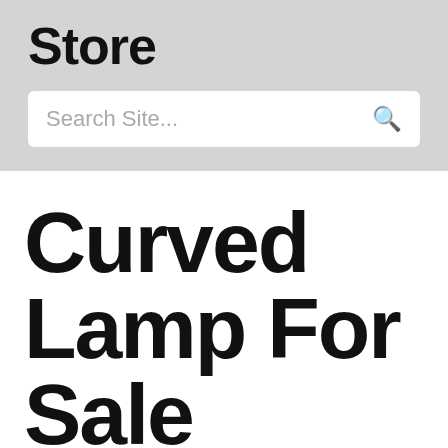Store
Search Site...
Curved Lamp For Sale